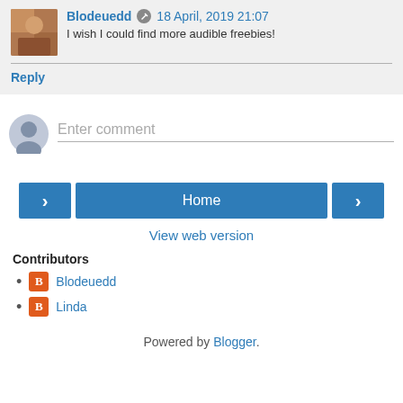Blodeuedd · 18 April, 2019 21:07 — I wish I could find more audible freebies!
Reply
Enter comment
Home
View web version
Contributors
Blodeuedd
Linda
Powered by Blogger.